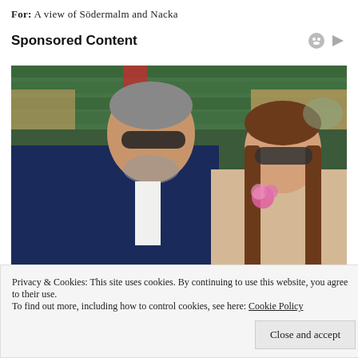FOR: A view of Södermalm and Nacka
Sponsored Content
[Figure (photo): Two people sitting in stadium/court seats. An older man with grey beard wearing a navy suit and light tie with sunglasses, seated next to a younger woman with long brown hair wearing sunglasses and a sparkly top with a pink flower corsage. Green stadium seats visible in background.]
Privacy & Cookies: This site uses cookies. By continuing to use this website, you agree to their use.
To find out more, including how to control cookies, see here: Cookie Policy
Close and accept